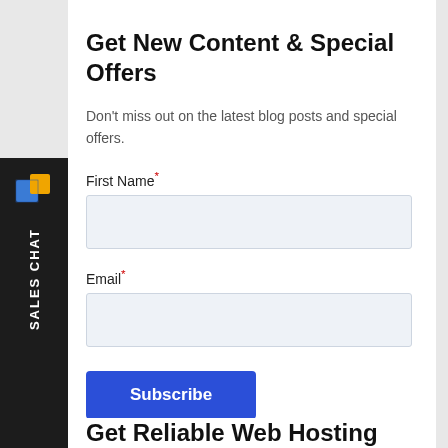Get New Content & Special Offers
Don't miss out on the latest blog posts and special offers.
First Name*
Email*
[Figure (screenshot): Subscribe button - blue rectangular button with white text 'Subscribe']
Get Reliable Web Hosting
[Figure (infographic): Left sidebar chat widget with blue/yellow cube icon and 'SALES CHAT' text rotated vertically on dark background]